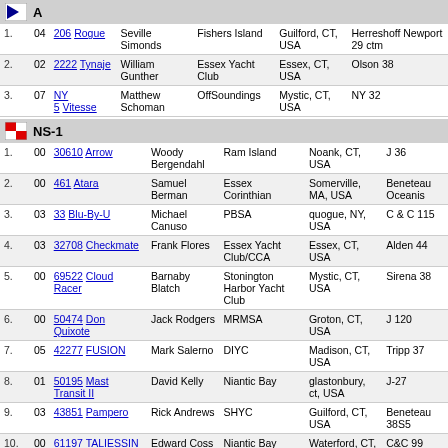A
| # | Sail | Boat | Skipper | Club | Home Port | Boat Type |
| --- | --- | --- | --- | --- | --- | --- |
| 1. | 04 | 206 Rogue | Seville Simonds | Fishers Island | Guilford, CT, USA | Herreshoff Newport 29 ctm |
| 2. | 02 | 2222 Tynaje | William Gunther | Essex Yacht Club | Essex, CT, USA | Olson 38 |
| 3. | 07 | NY 5 Vitesse | Matthew Schoman | OffSoundings | Mystic, CT, USA | NY 32 |
NS-1
| # | Sail | Boat | Skipper | Club | Home Port | Boat Type |
| --- | --- | --- | --- | --- | --- | --- |
| 1. | 00 | 30610 Arrow | Woody Bergendahl | Ram Island | Noank, CT, USA | J 36 |
| 2. | 00 | 461 Atara | Samuel Berman | Essex Corinthian | Somerville, MA, USA | Beneteau Oceanis |
| 3. | 03 | 33 Blu-By-U | Michael Canuso | PBSA | quogue, NY, USA | C & C 115 |
| 4. | 03 | 32708 Checkmate | Frank Flores | Essex Yacht Club/CCA | Essex, CT, USA | Alden 44 |
| 5. | 00 | 69522 Cloud Racer | Barnaby Blatch | Stonington Harbor Yacht Club | Mystic, CT, USA | Sirena 38 |
| 6. | 00 | 50474 Don Quixote | Jack Rodgers | MRMSA | Groton, CT, USA | J 120 |
| 7. | 05 | 42277 FUSION | Mark Salerno | DIYC | Madison, CT, USA | Tripp 37 |
| 8. | 01 | 50195 Mast Transit II | David Kelly | Niantic Bay | glastonbury, ct, USA | J-27 |
| 9. | 03 | 43851 Pampero | Rick Andrews | SHYC | Guilford, CT, USA | Beneteau 38S5 |
| 10. | 00 | 61197 TALIESSIN | Edward Coss | Niantic Bay Yacht Club | Waterford, CT, USA | C&C 99 |